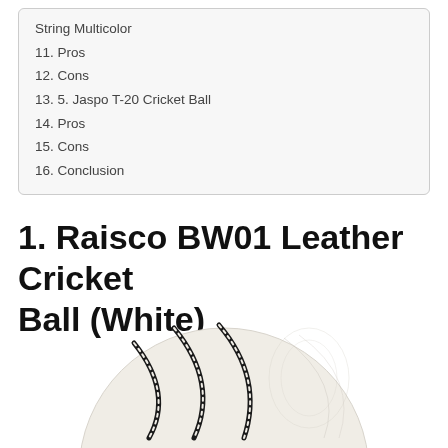String Multicolor
11. Pros
12. Cons
13. 5. Jaspo T-20 Cricket Ball
14. Pros
15. Cons
16. Conclusion
1. Raisco BW01 Leather Cricket Ball (White)
[Figure (photo): White leather cricket ball with black seam lines, partially cropped at bottom of page]